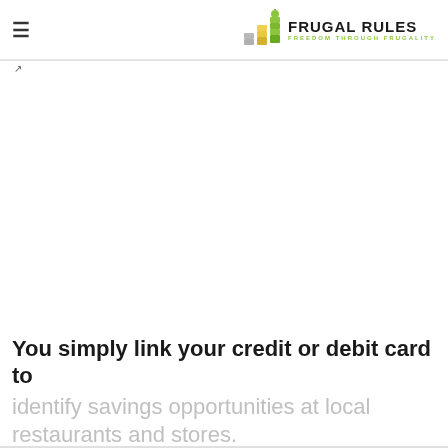≡  FRUGAL RULES — FREEDOM THROUGH FRUGALITY
You simply link your credit or debit card to identify savings opportunities at local restaurants and stores.